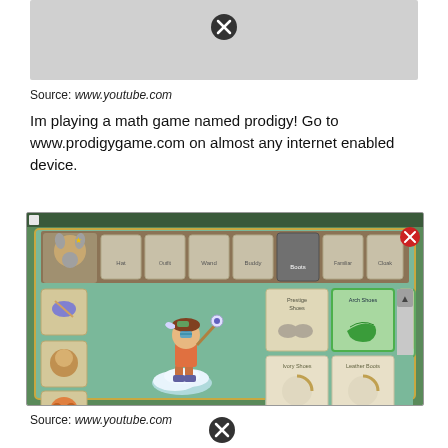[Figure (screenshot): Gray placeholder image with an X/close button, representing a video thumbnail from www.youtube.com]
Source: www.youtube.com
Im playing a math game named prodigy! Go to www.prodigygame.com on almost any internet enabled device.
[Figure (screenshot): Screenshot of the math game Prodigy showing a character equipment/inventory screen with boots selection menu, various item slots, and a small character sprite standing on a cloud]
Source: www.youtube.com